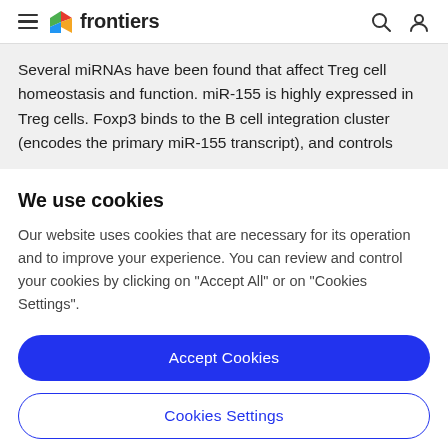frontiers
Several miRNAs have been found that affect Treg cell homeostasis and function. miR-155 is highly expressed in Treg cells. Foxp3 binds to the B cell integration cluster (encodes the primary miR-155 transcript), and controls
We use cookies
Our website uses cookies that are necessary for its operation and to improve your experience. You can review and control your cookies by clicking on "Accept All" or on "Cookies Settings".
Accept Cookies
Cookies Settings